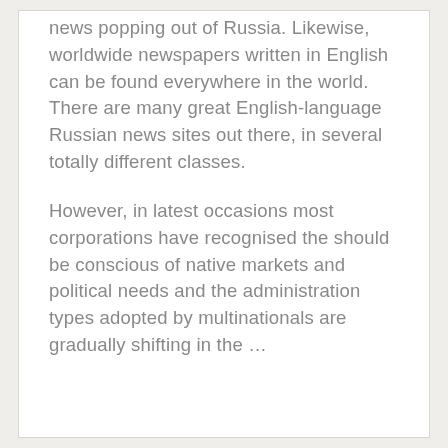news popping out of Russia. Likewise, worldwide newspapers written in English can be found everywhere in the world. There are many great English-language Russian news sites out there, in several totally different classes.
However, in latest occasions most corporations have recognised the should be conscious of native markets and political needs and the administration types adopted by multinationals are gradually shifting in the ...